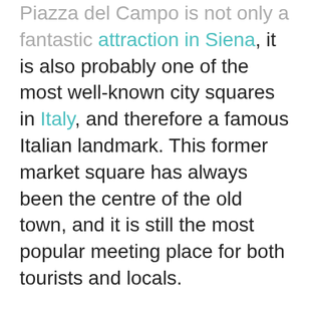Piazza del Campo is not only a fantastic attraction in Siena, it is also probably one of the most well-known city squares in Italy, and therefore a famous Italian landmark. This former market square has always been the centre of the old town, and it is still the most popular meeting place for both tourists and locals.
Around the square are some of the most beautiful sights in the city. First and foremost is the Palazzo Pubblico, the town hall, and the imposing Torre del Mangia, a 102-meter-high tower that rises high above the roofs of the old town. The stunning Fonte Gaia fountain is also